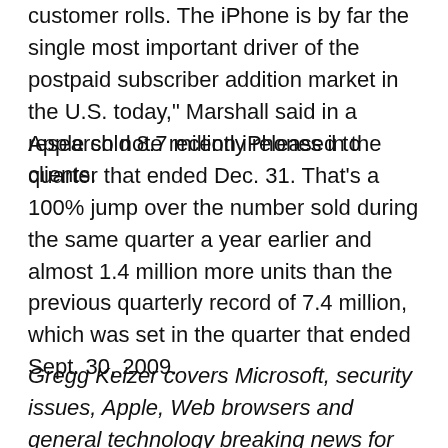customer rolls. The iPhone is by far the single most important driver of the postpaid subscriber addition market in the U.S. today," Marshall said in a research note recently released to clients.
Apple sold 8.7 million iPhones in the quarter that ended Dec. 31. That's a 100% jump over the number sold during the same quarter a year earlier and almost 1.4 million more units than the previous quarterly record of 7.4 million, which was set in the quarter that ended Sept. 30, 2009.
Gregg Keizer covers Microsoft, security issues, Apple, Web browsers and general technology breaking news for Computerworld. Follow